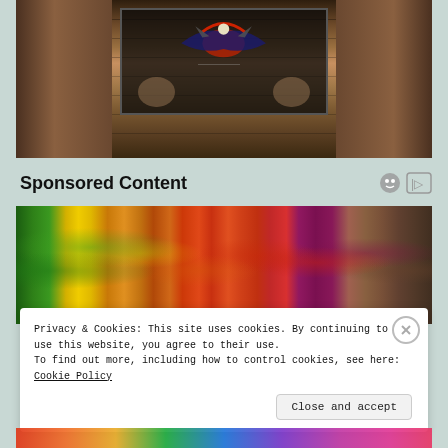[Figure (photo): Indoor scene with wooden wall paneling and a decorative tapestry or banner featuring an eagle motif with American flag colors, with two figures visible on either side]
Sponsored Content
[Figure (photo): Colorful assortment of fresh vegetables and fruits arranged side by side including broccoli, yellow peppers, carrots, strawberries, red cabbage and potatoes]
Privacy & Cookies: This site uses cookies. By continuing to use this website, you agree to their use.
To find out more, including how to control cookies, see here: Cookie Policy
Close and accept